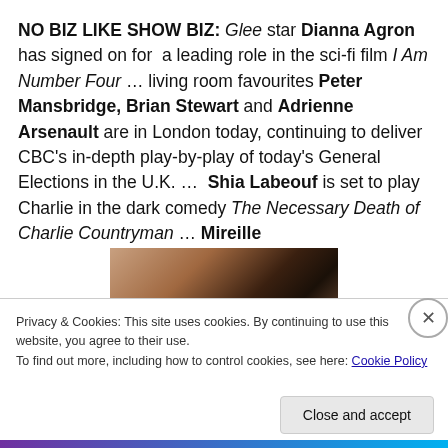NO BIZ LIKE SHOW BIZ: Glee star Dianna Agron has signed on for a leading role in the sci-fi film I Am Number Four … living room favourites Peter Mansbridge, Brian Stewart and Adrienne Arsenault are in London today, continuing to deliver CBC's in-depth play-by-play of today's General Elections in the U.K. … Shia Labeouf is set to play Charlie in the dark comedy The Necessary Death of Charlie Countryman … Mireille
[Figure (photo): Partial photo of a person with dark hair, cropped at the top of the head]
Privacy & Cookies: This site uses cookies. By continuing to use this website, you agree to their use.
To find out more, including how to control cookies, see here: Cookie Policy
Close and accept